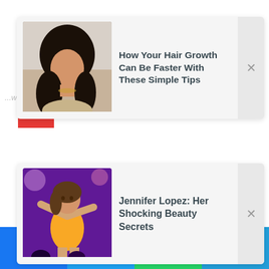[Figure (photo): Thumbnail card 1: woman with long dark curly hair, photo portrait]
How Your Hair Growth Can Be Faster With These Simple Tips
...who fatally shot man in wheelchair charged with m...
[Figure (photo): Thumbnail card 2: Jennifer Lopez performing on stage in yellow outfit under purple lighting]
Jennifer Lopez: Her Shocking Beauty Secrets
[Figure (infographic): Social sharing bar with Facebook, Twitter, WhatsApp, Telegram icons]